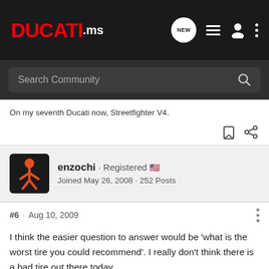DUCATI.ms
Search Community
On my seventh Ducati now, Streetfighter V4.
enzochi · Registered 🇺🇸
Joined May 26, 2008 · 252 Posts
#6 · Aug 10, 2009
I think the easier question to answer would be 'what is the worst tire you could recommend'. I really don't think there is a bad tire out there today..
I've got a set of Michelin PP 2CT on my 1098 and they are great so far. I've got about 1500 miles on them so far and they